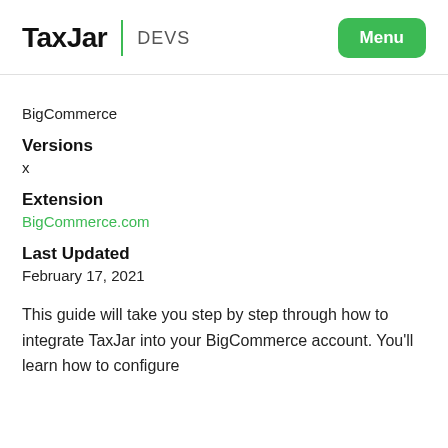TaxJar | DEVS  Menu
BigCommerce
Versions
x
Extension
BigCommerce.com
Last Updated
February 17, 2021
This guide will take you step by step through how to integrate TaxJar into your BigCommerce account. You'll learn how to configure